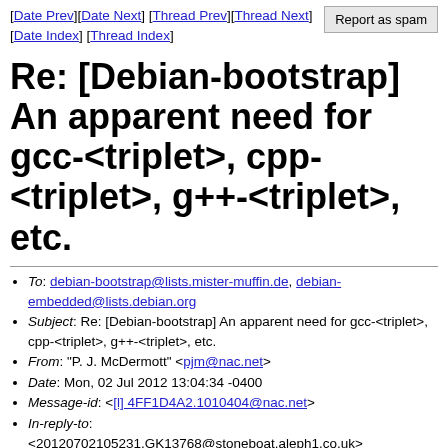[Date Prev][Date Next] [Thread Prev][Thread Next] [Date Index] [Thread Index]
Re: [Debian-bootstrap] An apparent need for gcc-<triplet>, cpp-<triplet>, g++-<triplet>, etc.
To: debian-bootstrap@lists.mister-muffin.de, debian-embedded@lists.debian.org
Subject: Re: [Debian-bootstrap] An apparent need for gcc-<triplet>, cpp-<triplet>, g++-<triplet>, etc.
From: "P. J. McDermott" <pjm@nac.net>
Date: Mon, 02 Jul 2012 13:04:34 -0400
Message-id: <[l] 4FF1D4A2.1010404@nac.net>
In-reply-to: <20120702105231.GK13768@stoneboat.aleph1.co.uk>
References: <4FF0E4B1.3070001@nac.net>